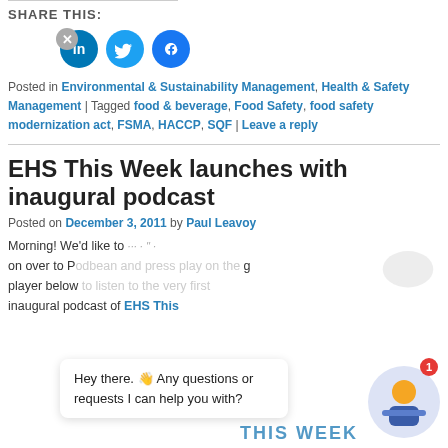SHARE THIS:
[Figure (infographic): Three circular social media share buttons: LinkedIn (blue), Twitter (light blue), Facebook (blue)]
Posted in Environmental & Sustainability Management, Health & Safety Management | Tagged food & beverage, Food Safety, food safety modernization act, FSMA, HACCP, SQF | Leave a reply
EHS This Week launches with inaugural podcast
Posted on December 3, 2011 by Paul Leavoy
Morning! We'd like to invite you to head on over to Podbean and press play on the player below to listen to the very first inaugural podcast of EHS This Week